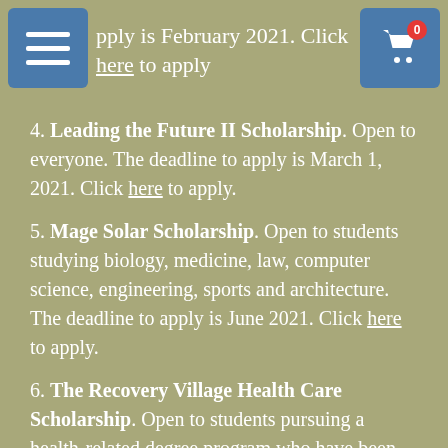pply is February 2021. Click here to apply
4. Leading the Future II Scholarship. Open to everyone. The deadline to apply is March 1, 2021. Click here to apply.
5. Mage Solar Scholarship. Open to students studying biology, medicine, law, computer science, engineering, sports and architecture. The deadline to apply is June 2021. Click here to apply.
6. The Recovery Village Health Care Scholarship. Open to students pursuing a health-related degree program who have been personally affected by addiction. The deadline to apply is June 30, 2021. Click here